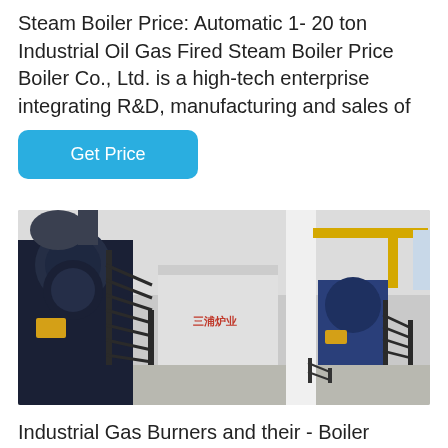Steam Boiler Price: Automatic 1- 20 ton Industrial Oil Gas Fired Steam Boiler Price Boiler Co., Ltd. is a high-tech enterprise integrating R&D, manufacturing and sales of …
Get Price
[Figure (photo): Industrial boiler room showing multiple large oil/gas fired steam boilers with black metal staircases, yellow overhead pipes, white structural columns, and blue boiler units on a concrete floor.]
Industrial Gas Burners and their - Boiler